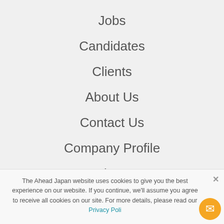Home
Jobs
Candidates
Clients
About Us
Contact Us
Company Profile
Join Us
The Ahead Japan website uses cookies to give you the best experience on our website. If you continue, we'll assume you agree to receive all cookies on our site. For more details, please read our Privacy Poli...